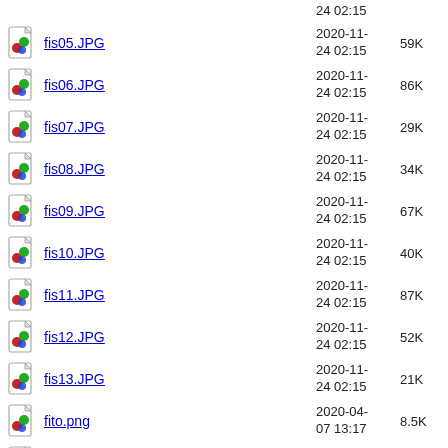fis05.JPG  2020-11-24 02:15  59K
fis06.JPG  2020-11-24 02:15  86K
fis07.JPG  2020-11-24 02:15  29K
fis08.JPG  2020-11-24 02:15  34K
fis09.JPG  2020-11-24 02:15  67K
fis10.JPG  2020-11-24 02:15  40K
fis11.JPG  2020-11-24 02:15  87K
fis12.JPG  2020-11-24 02:15  52K
fis13.JPG  2020-11-24 02:15  21K
fito.png  2020-04-07 13:17  8.5K
francisco.jpg  2018-09-11 14:04  5.5K